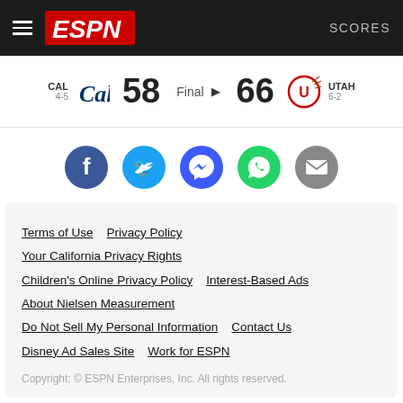ESPN — SCORES
CAL 4-5  58   Final  ▶  66  UTAH 6-2
[Figure (infographic): Social share buttons: Facebook, Twitter, Messenger, WhatsApp, Email]
Terms of Use   Privacy Policy
Your California Privacy Rights
Children's Online Privacy Policy   Interest-Based Ads
About Nielsen Measurement
Do Not Sell My Personal Information   Contact Us
Disney Ad Sales Site   Work for ESPN
Copyright: © ESPN Enterprises, Inc. All rights reserved.